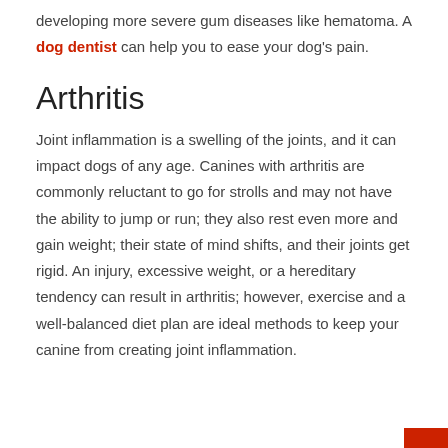developing more severe gum diseases like hematoma. A dog dentist can help you to ease your dog's pain.
Arthritis
Joint inflammation is a swelling of the joints, and it can impact dogs of any age. Canines with arthritis are commonly reluctant to go for strolls and may not have the ability to jump or run; they also rest even more and gain weight; their state of mind shifts, and their joints get rigid. An injury, excessive weight, or a hereditary tendency can result in arthritis; however, exercise and a well-balanced diet plan are ideal methods to keep your canine from creating joint inflammation.